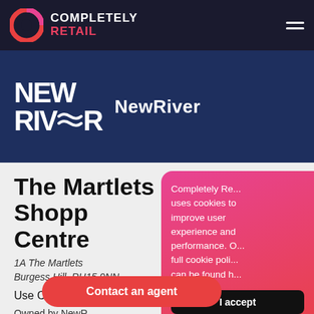COMPLETELY RETAIL
[Figure (logo): Completely Retail logo with circular gradient icon (pink/red) and white text COMPLETELY and red text RETAIL]
[Figure (logo): NewRiver logo: bold white NEW RIVER text with wave line replacing E, and NewRiver text alongside]
The Martlets Shopping Centre
1A The Martlets
Burgess Hill, RH15 9NN
Use Class E(a)   465,000 sq ft
Owned by NewR...
Last updated 14/...
Completely Retail uses cookies to improve user experience and performance. Our full cookie policy can be found h...
I accept
I do not ac...
Contact an agent